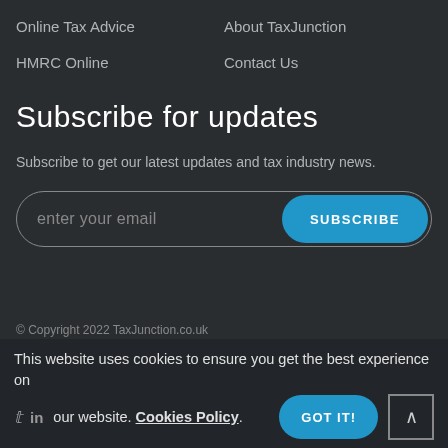Online Tax Advice
About TaxJunction
HMRC Online
Contact Us
Subscribe for updates
Subscribe to get our latest updates and tax industry news.
enter your email   SUBSCRIBE
© Copyright 2022 TaxJunction.co.uk
This website uses cookies to ensure you get the best experience on our website. Cookies Policy. GOT IT!